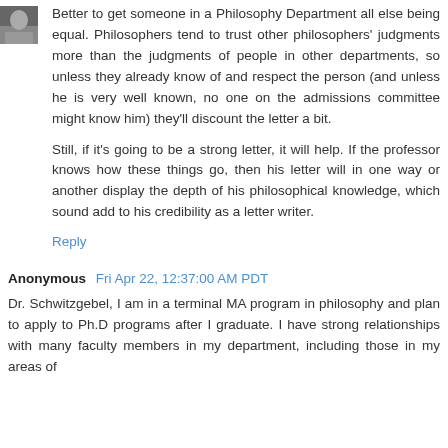[Figure (photo): Small avatar photo of a person in the top-left corner]
Better to get someone in a Philosophy Department all else being equal. Philosophers tend to trust other philosophers' judgments more than the judgments of people in other departments, so unless they already know of and respect the person (and unless he is very well known, no one on the admissions committee might know him) they'll discount the letter a bit.

Still, if it's going to be a strong letter, it will help. If the professor knows how these things go, then his letter will in one way or another display the depth of his philosophical knowledge, which sound add to his credibility as a letter writer.
Reply
Anonymous  Fri Apr 22, 12:37:00 AM PDT
Dr. Schwitzgebel, I am in a terminal MA program in philosophy and plan to apply to Ph.D programs after I graduate. I have strong relationships with many faculty members in my department, including those in my areas of